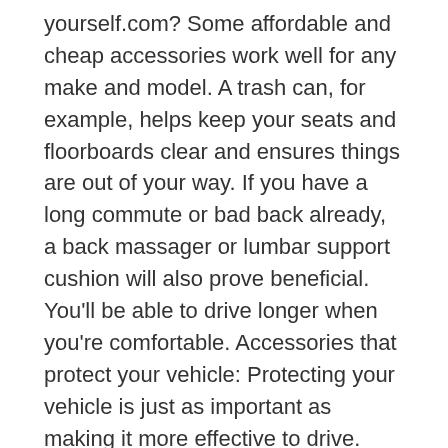yourself.com? Some affordable and cheap accessories work well for any make and model. A trash can, for example, helps keep your seats and floorboards clear and ensures things are out of your way. If you have a long commute or bad back already, a back massager or lumbar support cushion will also prove beneficial. You'll be able to drive longer when you're comfortable. Accessories that protect your vehicle: Protecting your vehicle is just as important as making it more effective to drive. Certain accessories can help. Add a steering wheel lock when your Mercedes is in park, for example. It keeps the wheel in place so it can't be tampered with and driven off without your consent. See more info on Mercedes ambient lighting.
The EQS is one of the most important new cars